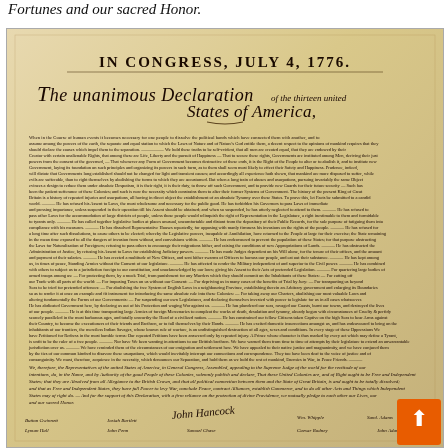Fortunes and our sacred Honor.
[Figure (photo): Photograph of the original Declaration of Independence document, showing the handwritten text on aged parchment. The document reads 'In Congress, July 4, 1776. The unanimous Declaration of the thirteen united States of America.' followed by the full text and signatures including John Hancock.]